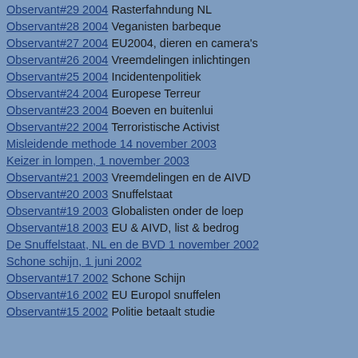Observant#29 2004 Rasterfahndung NL
Observant#28 2004 Veganisten barbeque
Observant#27 2004 EU2004, dieren en camera's
Observant#26 2004 Vreemdelingen inlichtingen
Observant#25 2004 Incidentenpolitiek
Observant#24 2004 Europese Terreur
Observant#23 2004 Boeven en buitenlui
Observant#22 2004 Terroristische Activist
Misleidende methode 14 november 2003
Keizer in lompen, 1 november 2003
Observant#21 2003 Vreemdelingen en de AIVD
Observant#20 2003 Snuffelstaat
Observant#19 2003 Globalisten onder de loep
Observant#18 2003 EU & AIVD, list & bedrog
De Snuffelstaat, NL en de BVD 1 november 2002
Schone schijn, 1 juni 2002
Observant#17 2002 Schone Schijn
Observant#16 2002 EU Europol snuffelen
Observant#15 2002 Politie betaalt studie